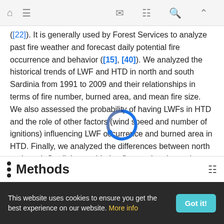Navigation bar with home, menu, mail, grid, search, and up icons
([22]). It is generally used by Forest Services to analyze past fire weather and forecast daily potential fire occurrence and behavior ([15], [40]). We analyzed the historical trends of LWF and HTD in north and south Sardinia from 1991 to 2009 and their relationships in terms of fire number, burned area, and mean fire size. We also assessed the probability of having LWFs in HTD and the role of other factors (wind speed and number of ignitions) influencing LWF occurrence and burned area in HTD. Finally, we analyzed the differences between north and south Sardinia considering fire number, burned area and mean fire size.
Methods
This website uses cookies to ensure you get the best experience on our website. More info  Got it!